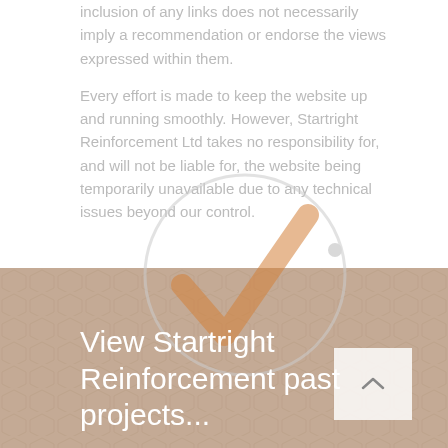inclusion of any links does not necessarily imply a recommendation or endorse the views expressed within them.
Every effort is made to keep the website up and running smoothly. However, Startright Reinforcement Ltd takes no responsibility for, and will not be liable for, the website being temporarily unavailable due to any technical issues beyond our control.
[Figure (logo): Startright Reinforcement logo: a large orange checkmark inside a circular arc, rendered as a watermark/overlay graphic]
View Startright Reinforcement past projects...